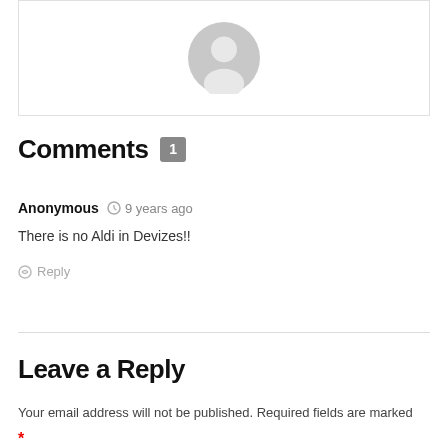[Figure (illustration): Gray anonymous user avatar icon centered in a white box with light border]
Comments 1
Anonymous  9 years ago
There is no Aldi in Devizes!!
Reply
Leave a Reply
Your email address will not be published. Required fields are marked *